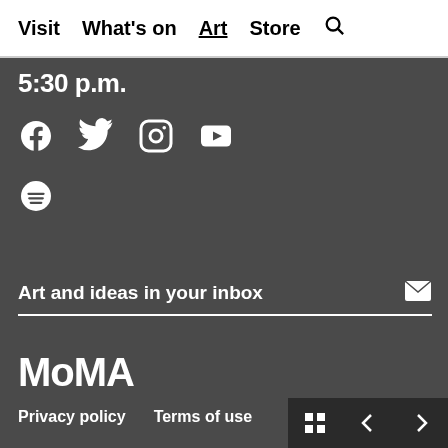Visit  What's on  Art  Store  🔍
5:30 p.m.
[Figure (illustration): Social media icons: Facebook, Twitter, Instagram, YouTube, Spotify]
Art and ideas in your inbox
MoMA
Privacy policy   Terms of use